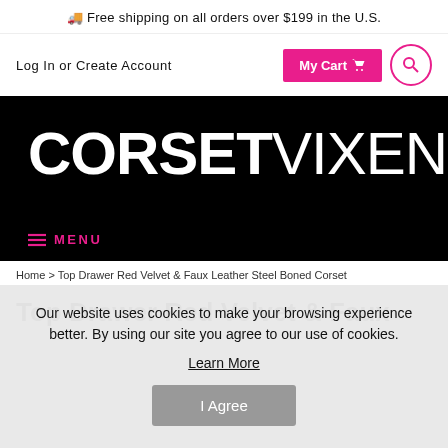🚚 Free shipping on all orders over $199 in the U.S.
Log In or Create Account
My Cart 🛒
[Figure (logo): CORSETVIXEN logo in white bold and light weight text on black background]
≡ MENU
Home > Top Drawer Red Velvet & Faux Leather Steel Boned Corset
Top Drawer Red Velvet & Faux
Our website uses cookies to make your browsing experience better. By using our site you agree to our use of cookies. Learn More
I Agree